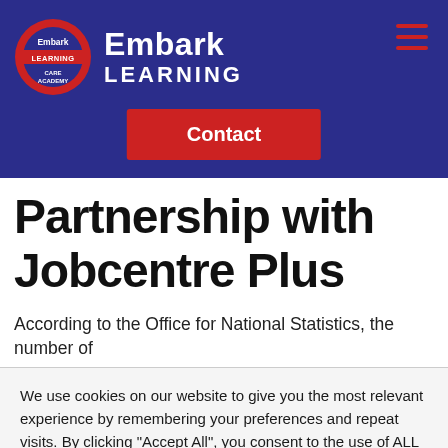[Figure (logo): Embark Learning Care Academy logo with circular red and blue badge and text 'Embark LEARNING']
Contact
Partnership with Jobcentre Plus
According to the Office for National Statistics, the number of
We use cookies on our website to give you the most relevant experience by remembering your preferences and repeat visits. By clicking "Accept All", you consent to the use of ALL the cookies. However, you may visit "Cookie Settings" to provide a controlled consent.
Cookie Settings  Accept All